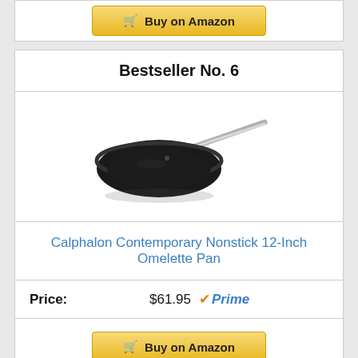[Figure (other): Partial view of a Buy on Amazon button from the previous product card]
Bestseller No. 6
[Figure (photo): A black Calphalon Contemporary Nonstick 12-Inch Omelette Pan with a stainless steel handle, viewed from above at an angle]
Calphalon Contemporary Nonstick 12-Inch Omelette Pan
Price: $61.95 Prime
Buy on Amazon
Bestseller No. 7